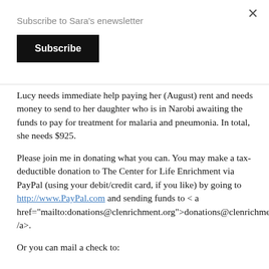Subscribe to Sara's enewsletter
Subscribe
Lucy needs immediate help paying her (August) rent and needs money to send to her daughter who is in Narobi awaiting the funds to pay for treatment for malaria and pneumonia. In total, she needs $925.
Please join me in donating what you can. You may make a tax-deductible donation to The Center for Life Enrichment via PayPal (using your debit/credit card, if you like) by going to http://www.PayPal.com and sending funds to < a href="mailto:donations@clenrichment.org">donations@clenrichment.org< /a>.
Or you can mail a check to: